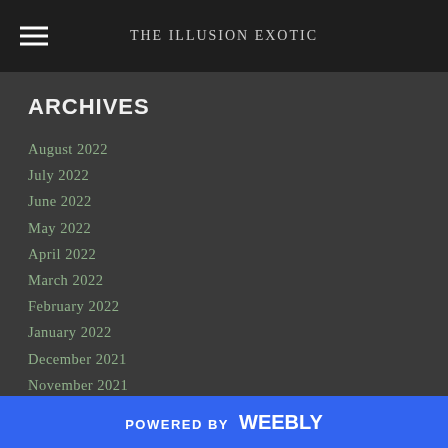THE ILLUSION EXOTIC
ARCHIVES
August 2022
July 2022
June 2022
May 2022
April 2022
March 2022
February 2022
January 2022
December 2021
November 2021
October 2021
September 2021
August 2021
July 2021
June 2021
POWERED BY weebly